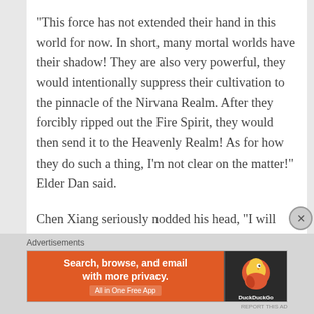“This force has not extended their hand in this world for now. In short, many mortal worlds have their shadow! They are also very powerful, they would intentionally suppress their cultivation to the pinnacle of the Nirvana Realm. After they forcibly ripped out the Fire Spirit, they would then send it to the Heavenly Realm! As for how they do such a thing, I’m not clear on the matter!” Elder Dan said.
Chen Xiang seriously nodded his head, "I will pay attention to this, now pay me!"
[Figure (other): DuckDuckGo advertisement banner: orange background left side with text 'Search, browse, and email with more privacy. All in One Free App', dark right side with DuckDuckGo duck logo]